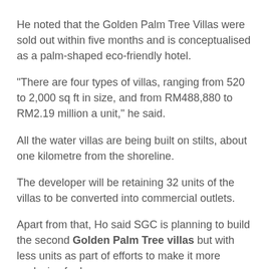He noted that the Golden Palm Tree Villas were sold out within five months and is conceptualised as a palm-shaped eco-friendly hotel.
"There are four types of villas, ranging from 520 to 2,000 sq ft in size, and from RM488,880 to RM2.19 million a unit," he said.
All the water villas are being built on stilts, about one kilometre from the shoreline.
The developer will be retaining 32 units of the villas to be converted into commercial outlets.
Apart from that, Ho said SGC is planning to build the second Golden Palm Tree villas but with less units as part of efforts to make it more exclusive for buyers.
"We hope to launch the second villas by middle of next year but we are unable to give further details just yet," he said.